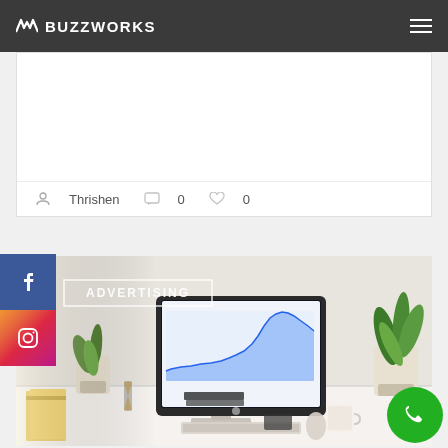BUZZWORKS
Thrishen  0  0
[Figure (photo): Desktop computer (iMac) showing an analytics line chart on a clean white desk with plants, books and office items. An 'ADVERTISING' label overlay appears in upper left.]
[Figure (logo): Facebook icon button (blue square)]
[Figure (logo): Instagram icon button (gradient square)]
[Figure (other): Green circular phone/call floating action button]